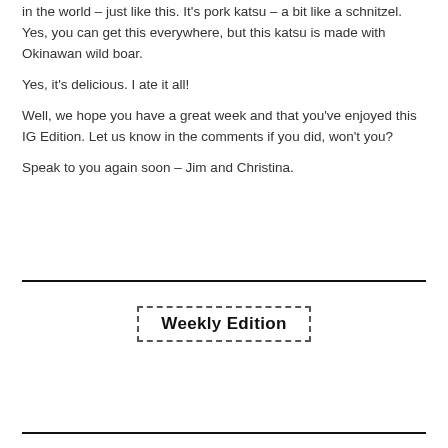in the world – just like this. It's pork katsu – a bit like a schnitzel. Yes, you can get this everywhere, but this katsu is made with Okinawan wild boar.
Yes, it's delicious. I ate it all!
Well, we hope you have a great week and that you've enjoyed this IG Edition. Let us know in the comments if you did, won't you?
Speak to you again soon – Jim and Christina.
Weekly Edition